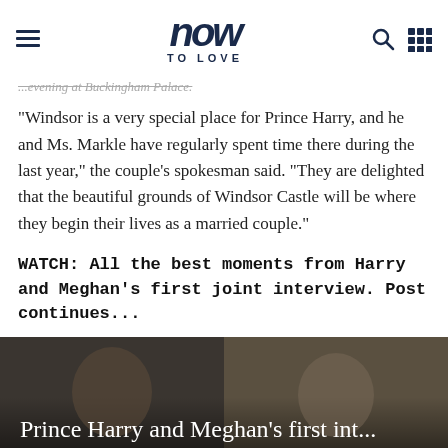now to love — navigation header
...evening at Buckingham Palace.
"Windsor is a very special place for Prince Harry, and he and Ms. Markle have regularly spent time there during the last year," the couple's spokesman said. "They are delighted that the beautiful grounds of Windsor Castle will be where they begin their lives as a married couple."
WATCH: All the best moments from Harry and Meghan's first joint interview. Post continues...
[Figure (photo): Video thumbnail showing Prince Harry and Meghan Markle sitting together during their first joint interview, with text overlay reading 'Prince Harry and Meghan's first int...']